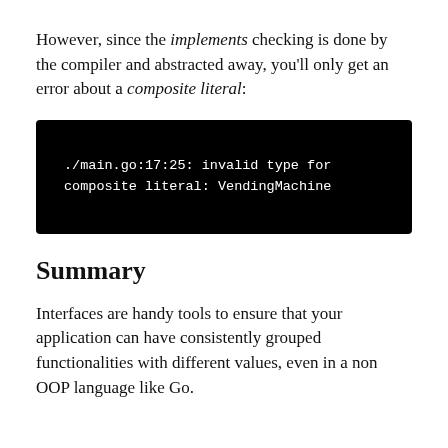However, since the implements checking is done by the compiler and abstracted away, you'll only get an error about a composite literal:
[Figure (screenshot): Black terminal/code block showing error: ./main.go:17:25: invalid type for composite literal: VendingMachine]
Summary
Interfaces are handy tools to ensure that your application can have consistently grouped functionalities with different values, even in a non OOP language like Go.